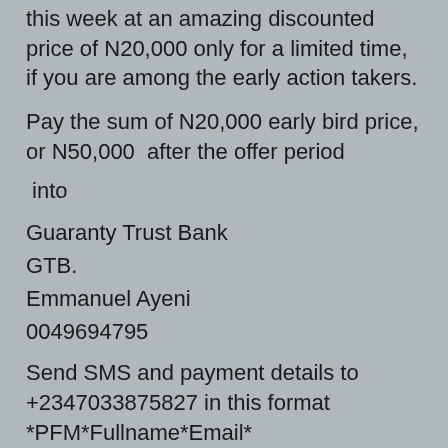this week at an amazing discounted price of N20,000 only for a limited time, if you are among the early action takers.
Pay the sum of N20,000 early bird price, or N50,000  after the offer period
into
Guaranty Trust Bank
GTB.
Emmanuel Ayeni
0049694795
Send SMS and payment details to +2347033875827 in this format *PFM*Fullname*Email*
You also get Bumper Bonuses (worth over N150,000 ) after registration
👆1 hour one on one Coaching call with me in a WhatsApp group